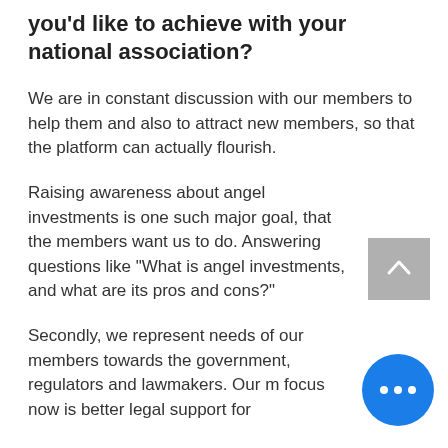you'd like to achieve with your national association?
We are in constant discussion with our members to help them and also to attract new members, so that the platform can actually flourish.
Raising awareness about angel investments is one such major goal, that the members want us to do. Answering questions like "What is angel investments, and what are its pros and cons?"
Secondly, we represent needs of our members towards the government, regulators and lawmakers. Our main focus now is better legal support for